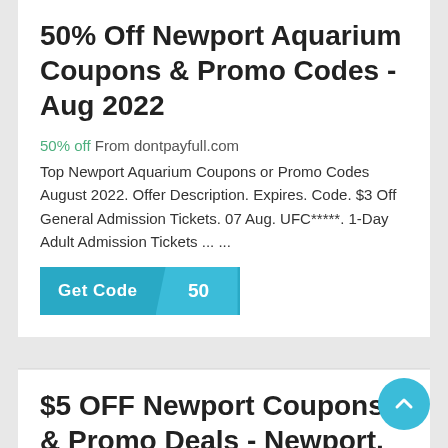50% Off Newport Aquarium Coupons & Promo Codes - Aug 2022
50% off From dontpayfull.com
Top Newport Aquarium Coupons or Promo Codes August 2022. Offer Description. Expires. Code. $3 Off General Admission Tickets. 07 Aug. UFC*****. 1-Day Adult Admission Tickets ... ...
[Figure (other): Get Code button with '50' label on teal background]
$5 OFF Newport Coupons & Promo Deals - Newport, IN
$5 off From friendseat.com
September 2021 - Click for $5 off Newport